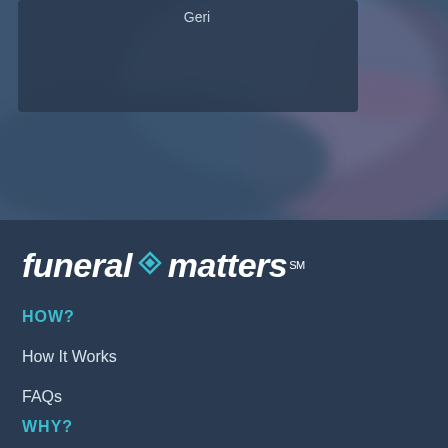[Figure (photo): Blurred dark blue background photo with a partially visible card overlay showing the name 'Geri']
[Figure (logo): funeral matters logo in white italic text with a teal diamond icon between the words and SM superscript]
HOW?
How It Works
FAQs
WHY?